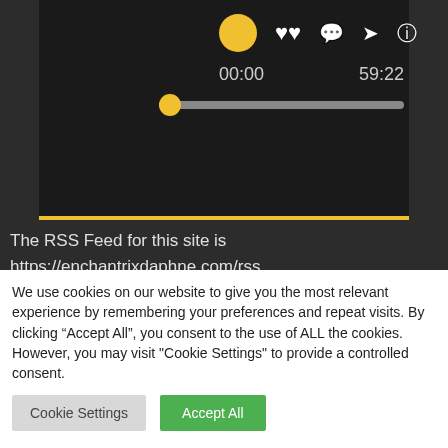[Figure (screenshot): Audio/podcast player UI with yellow circle icon, heart, chat, share, info icons, time display 00:00 and 59:22, progress bar with yellow circle handle, and yellow bottom border bar on dark background]
The RSS Feed for this site is https://enchantrixdaphne.com/rss.
Learn more about using a Feed Reader, here.
We use cookies on our website to give you the most relevant experience by remembering your preferences and repeat visits. By clicking “Accept All”, you consent to the use of ALL the cookies. However, you may visit "Cookie Settings" to provide a controlled consent.
Cookie Settings
Accept All